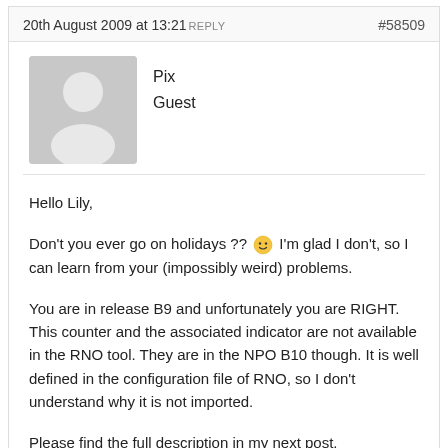20th August 2009 at 13:21 REPLY  #58509
[Figure (illustration): Gray placeholder avatar icon showing a silhouette of a person]
Pix
Guest
Hello Lily,

Don't you ever go on holidays ?? 🙂 I'm glad I don't, so I can learn from your (impossibly weird) problems.

You are in release B9 and unfortunately you are RIGHT. This counter and the associated indicator are not available in the RNO tool. They are in the NPO B10 though. It is well defined in the configuration file of RNO, so I don't understand why it is not imported.

Please find the full description in my next post.

And please highlight this problem to your TAC...

Once thing : the counter is incremented either on target or on serving cell, depending on when the